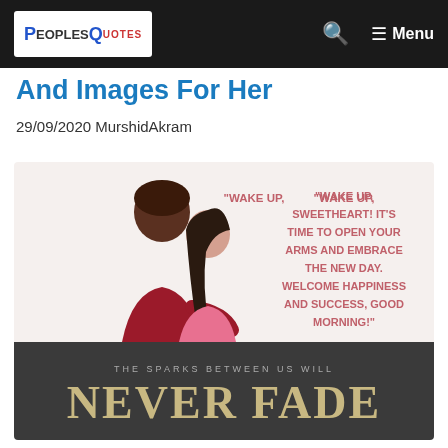PeoplesQuotes — Menu
And Images For Her
29/09/2020 MurshidAkram
[Figure (illustration): Two-panel quote image. Top panel (light background): illustration of a couple embracing (dark-skinned man in red and lighter-skinned woman in pink), with pink text reading: "WAKE UP, SWEETHEART! IT'S TIME TO OPEN YOUR ARMS AND EMBRACE THE NEW DAY. WELCOME HAPPINESS AND SUCCESS, GOOD MORNING!" Bottom panel (dark charcoal background): small text 'THE SPARKS BETWEEN US WILL' above large gold/beige text 'NEVER FADE'.]